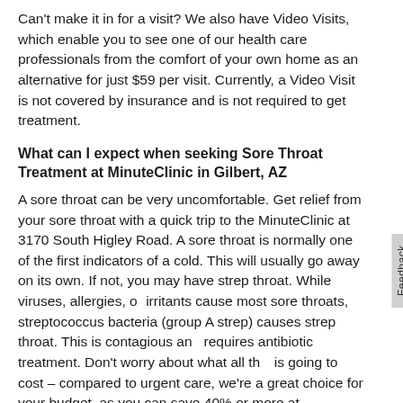Can't make it in for a visit? We also have Video Visits, which enable you to see one of our health care professionals from the comfort of your own home as an alternative for just $59 per visit. Currently, a Video Visit is not covered by insurance and is not required to get treatment.
What can I expect when seeking Sore Throat Treatment at MinuteClinic in Gilbert, AZ
A sore throat can be very uncomfortable. Get relief from your sore throat with a quick trip to the MinuteClinic at 3170 South Higley Road. A sore throat is normally one of the first indicators of a cold. This will usually go away on its own. If not, you may have strep throat. While viruses, allergies, or irritants cause most sore throats, streptococcus bacteria (group A strep) causes strep throat. This is contagious and requires antibiotic treatment. Don't worry about what all this is going to cost – compared to urgent care, we're a great choice for your budget, as you can save 40% or more at MinuteClinic. Come in today and our providers will assess your symptoms and refer you to get a strep throat test if needed.